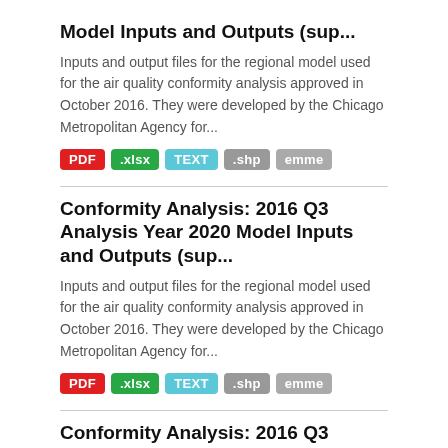Model Inputs and Outputs (sup...
Inputs and output files for the regional model used for the air quality conformity analysis approved in October 2016. They were developed by the Chicago Metropolitan Agency for...
PDF .xlsx TEXT .shp emme
Conformity Analysis: 2016 Q3 Analysis Year 2020 Model Inputs and Outputs (sup...
Inputs and output files for the regional model used for the air quality conformity analysis approved in October 2016. They were developed by the Chicago Metropolitan Agency for...
PDF .xlsx TEXT .shp emme
Conformity Analysis: 2016 Q3 Analysis Year 2015 Model Inputs and Outputs (sup...
Inputs and output files for the regional model used for the air quality conformity analysis approved in October 2016. They were developed by the Chicago Metropolitan Agency for...